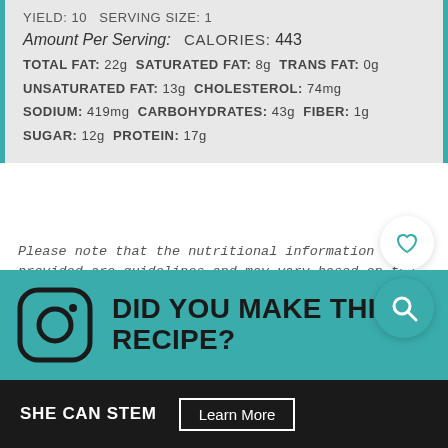YIELD: 10  SERVING SIZE: 1
Amount Per Serving:  CALORIES: 443
TOTAL FAT: 22g SATURATED FAT: 8g TRANS FAT: 0g
UNSATURATED FAT: 13g CHOLESTEROL: 74mg
SODIUM: 419mg CARBOHYDRATES: 43g FIBER: 1g
SUGAR: 12g PROTEIN: 17g
Please note that the nutritional information provided are guidelines and may vary based on the brand of products used. For your specific nutritional goals use My Fitness Pal or Verywell Fit recipe calculators. All content within this site is not intended as medical diagnosis or treatment and should not be considered a substitute for professional medical expertise.
DID YOU MAKE THIS RECIPE?
SHE CAN STEM  Learn More